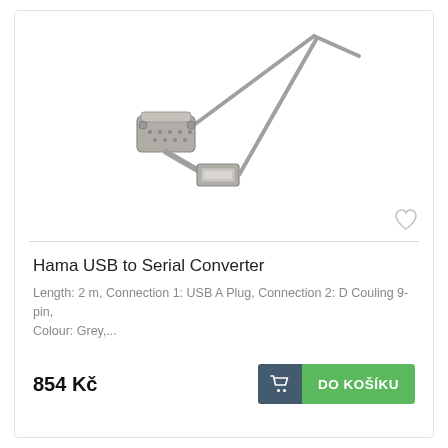[Figure (photo): USB to Serial Converter cable with DB9 male connector and USB-A plug, grey colored, approximately 2 meters long]
Hama USB to Serial Converter
Length: 2 m, Connection 1: USB A Plug, Connection 2: D Couling 9-pin, Colour: Grey,...
854 Kč